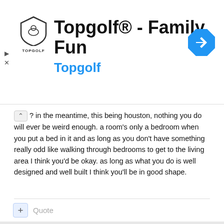[Figure (screenshot): Topgolf advertisement banner with shield logo, title 'Topgolf® - Family Fun', subtitle 'Topgolf' in blue, and a blue diamond navigation arrow icon]
? in the meantime, this being houston, nothing you do will ever be weird enough. a room's only a bedroom when you put a bed in it and as long as you don't have something really odd like walking through bedrooms to get to the living area I think you'd be okay. as long as what you do is well designed and well built I think you'll be in good shape.
+ Quote
RedScare
Posted March 26, 2009
No area in the front for meeting guests is generally a bad idea. BUT, any design questions without either pictures or drawings is